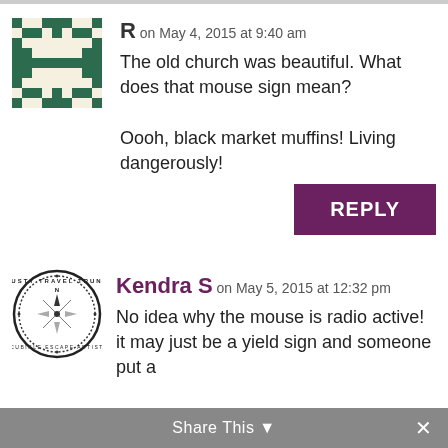[Figure (illustration): Pixel art avatar in dark green and cream colors, resembling a blocky face or shield pattern]
R on May 4, 2015 at 9:40 am
The old church was beautiful. What does that mouse sign mean?

Oooh, black market muffins! Living dangerously!
REPLY
[Figure (illustration): Circular stamp logo reading 'RUSTY TRAVEL TRUNK · CUBICLE ESCAPE ARTIST' with a compass rose in the center]
Kendra S on May 5, 2015 at 12:32 pm
No idea why the mouse is radio active! it may just be a yield sign and someone put a
Share This ×